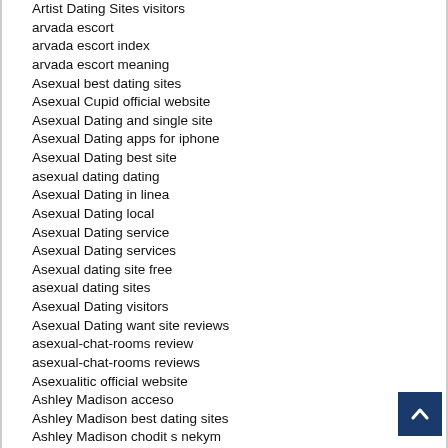Artist Dating Sites visitors
arvada escort
arvada escort index
arvada escort meaning
Asexual best dating sites
Asexual Cupid official website
Asexual Dating and single site
Asexual Dating apps for iphone
Asexual Dating best site
asexual dating dating
Asexual Dating in linea
Asexual Dating local
Asexual Dating service
Asexual Dating services
Asexual dating site free
asexual dating sites
Asexual Dating visitors
Asexual Dating want site reviews
asexual-chat-rooms review
asexual-chat-rooms reviews
Asexualitic official website
Ashley Madison acceso
Ashley Madison best dating sites
Ashley Madison chodit s nekym